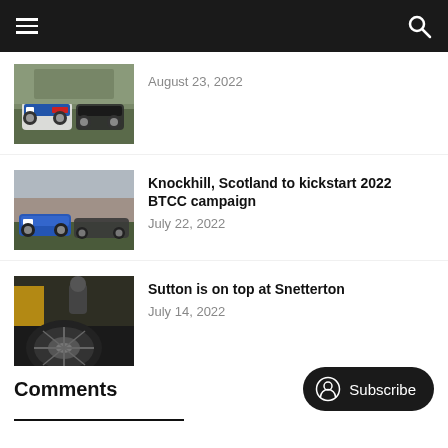Navigation bar with hamburger menu and search icon
[Figure (photo): Racing cars on track, partial view, August 23, 2022 article thumbnail]
August 23, 2022
[Figure (photo): Racing cars at Knockhill with crowd in background, article thumbnail]
Knockhill, Scotland to kickstart 2022 BTCC campaign
July 22, 2022
[Figure (photo): Tire/wheel close-up with pit crew member, Sutton is on top at Snetterton article thumbnail]
Sutton is on top at Snetterton
July 14, 2022
Comments